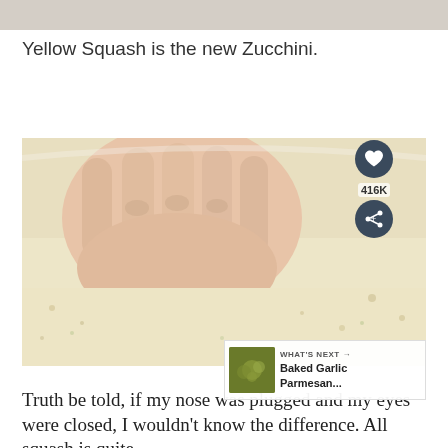[Figure (photo): Top edge of a food photo partially visible as a strip at the top of the page]
Yellow Squash is the new Zucchini.
[Figure (photo): Close-up photo of hands pressing into a bowl of breadcrumb or grated cheese mixture, with a heart/save button showing 416K saves and a share button overlaid on the right side, and a 'WHAT'S NEXT' banner showing 'Baked Garlic Parmesan...' in the bottom-right corner]
Truth be told, if my nose was plugged and my eyes were closed, I wouldn't know the difference. All squash is quite